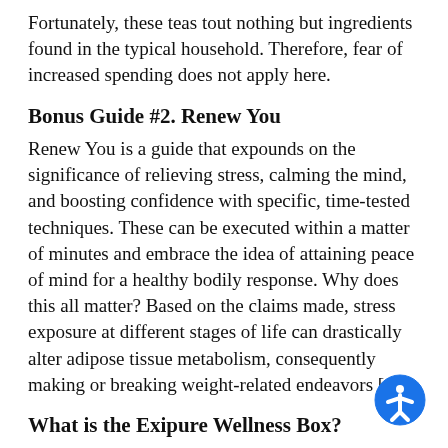Fortunately, these teas tout nothing but ingredients found in the typical household. Therefore, fear of increased spending does not apply here.
Bonus Guide #2. Renew You
Renew You is a guide that expounds on the significance of relieving stress, calming the mind, and boosting confidence with specific, time-tested techniques. These can be executed within a matter of minutes and embrace the idea of attaining peace of mind for a healthy bodily response. Why does this all matter? Based on the claims made, stress exposure at different stages of life can drastically alter adipose tissue metabolism, consequently making or breaking weight-related endeavors [12].
What is the Exipure Wellness Box?
For first-time buyers, each Exipure purchase is